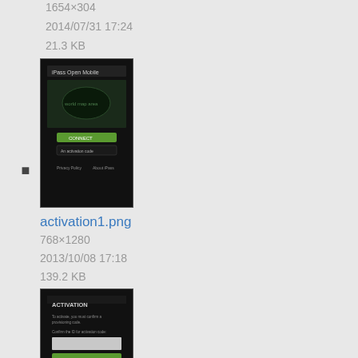1654×304
2014/07/31 17:24
21.3 KB
[Figure (screenshot): Thumbnail screenshot of activation1.png showing iPass Open Mobile app dark screen with green button]
activation1.png
768×1280
2013/10/08 17:18
139.2 KB
[Figure (screenshot): Thumbnail screenshot of activation2.png showing ACTIVATION screen with input field on dark background]
activation2.png
768×1280
2014/04/21 16:53
68.5 KB